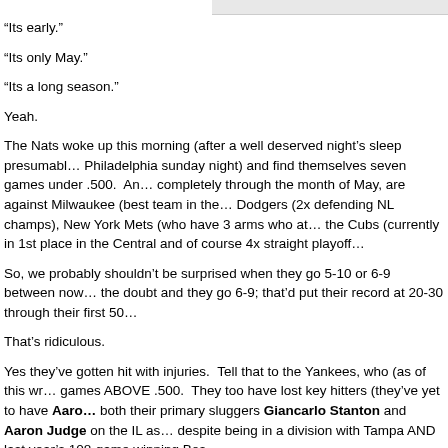“Its early.”
“Its only May.”
“Its a long season.”
Yeah.
The Nats woke up this morning (after a well deserved night’s sleep presumably after beating Philadelphia sunday night) and find themselves seven games under .500.  And their remaining games, completely through the month of May, are against Milwaukee (best team in the NL), Los Angeles Dodgers (2x defending NL champs), New York Mets (who have 3 arms who at least used to be good), and the Cubs (currently in 1st place in the Central and of course 4x straight playoff team).
So, we probably shouldn’t be surprised when they go 5-10 or 6-9 between now and June. Give them the doubt and they go 6-9; that’d put their record at 20-30 through their first 50 games.
That’s ridiculous.
Yes they’ve gotten hit with injuries.  Tell that to the Yankees, who (as of this writing) are 7 games ABOVE .500.  They too have lost key hitters (they’ve yet to have Aaron Judge and both their primary sluggers Giancarlo Stanton and Aaron Judge on the IL as well) despite being in a division with Tampa AND last year’s 108-game winning Bost…
So what’s the difference?   Why is a team like NY able to weather this storm b…